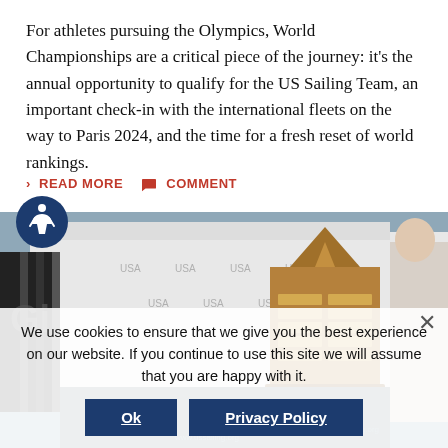For athletes pursuing the Olympics, World Championships are a critical piece of the journey: it's the annual opportunity to qualify for the US Sailing Team, an important check-in with the international fleets on the way to Paris 2024, and the time for a fresh reset of world rankings.
> READ MORE   COMMENT
[Figure (photo): Photograph of a large sailing trophy (tall wooden award with multiple engraved plaques) displayed in front of a US Sailing banner/backdrop, with a man visible on the right side.]
We use cookies to ensure that we give you the best experience on our website. If you continue to use this site we will assume that you are happy with it.